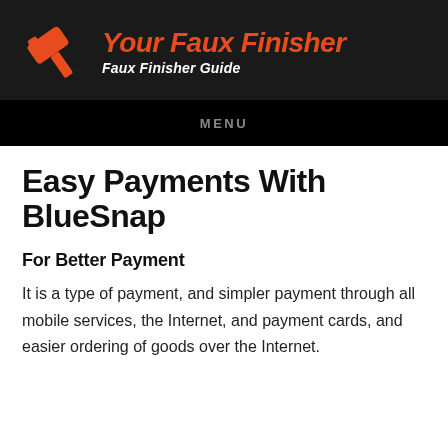[Figure (logo): Your Faux Finisher logo with orange hammer/brush icon and italic text reading 'Your Faux Finisher' in orange with subtitle 'Faux Finisher Guide' in white on dark background]
MENU
Easy Payments With BlueSnap
For Better Payment
It is a type of payment, and simpler payment through all mobile services, the Internet, and payment cards, and easier ordering of goods over the Internet.